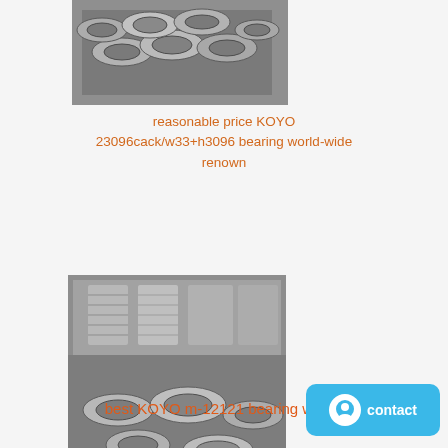[Figure (photo): Photo of KOYO 23096cack/w33+h3096 bearings stacked in rows, metallic silver industrial bearings]
reasonable price KOYO 23096cack/w33+h3096 bearing world-wide renown
[Figure (photo): Photo of KOYO m-12121 bearings stacked in a warehouse, metallic silver industrial bearings on pallets]
best KOYO m-12121 bearing world-wide renown